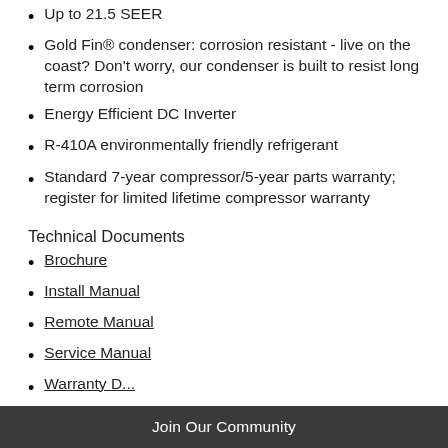Up to 21.5 SEER
Gold Fin® condenser: corrosion resistant - live on the coast? Don't worry, our condenser is built to resist long term corrosion
Energy Efficient DC Inverter
R-410A environmentally friendly refrigerant
Standard 7-year compressor/5-year parts warranty; register for limited lifetime compressor warranty
Technical Documents
Brochure
Install Manual
Remote Manual
Service Manual
Warranty D...
Join Our Community